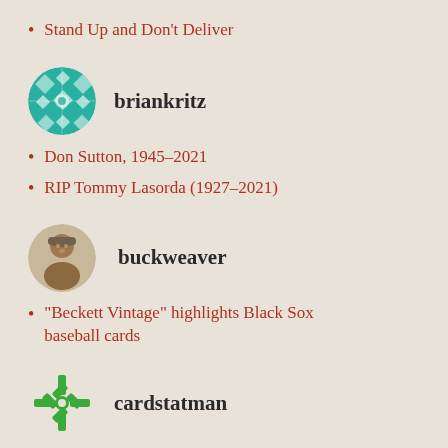Stand Up and Don't Deliver
[Figure (illustration): Circular teal avatar with geometric diamond/square pattern for user briankritz]
briankritz
Don Sutton, 1945-2021
RIP Tommy Lasorda (1927-2021)
[Figure (photo): Circular sepia-toned vintage photo of a baseball player wearing a cap for user buckweaver]
buckweaver
“Beckett Vintage” highlights Black Sox baseball cards
[Figure (logo): Circular green snowflake/pinwheel logo for user cardstatman]
cardstatman
Eddie Robinson Turns 100